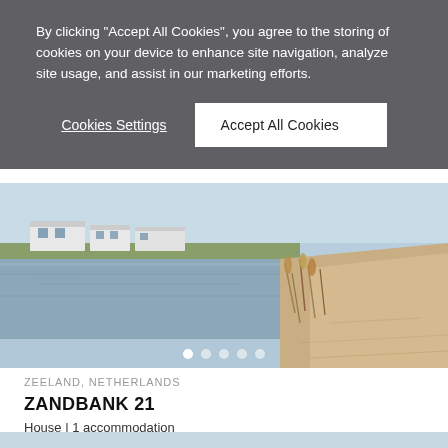By clicking "Accept All Cookies", you agree to the storing of cookies on your device to enhance site navigation, analyze site usage, and assist in our marketing efforts.
Cookies Settings
Accept All Cookies
[Figure (photo): Waterfront scene with a calm lake or canal, sandy shore with reeds in the foreground, and modern white flat-roofed houses in the background under a clear sky.]
ZEELAND, NETHERLANDS
ZANDBANK 21
House | 1 accommodation
From €129 / Night | 7 night min.